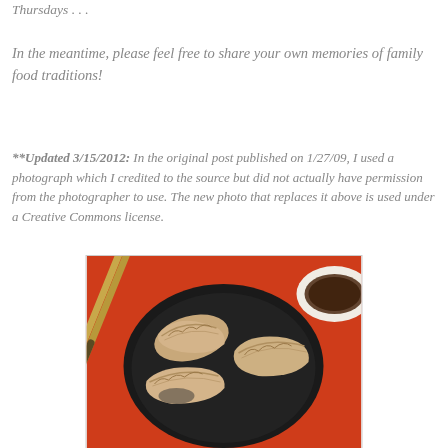Thursdays . . .
In the meantime, please feel free to share your own memories of family food traditions!
**Updated 3/15/2012: In the original post published on 1/27/09, I used a photograph which I credited to the source but did not actually have permission from the photographer to use. The new photo that replaces it above is used under a Creative Commons license.
[Figure (photo): Photo of Chinese dumplings/potstickers on a black plate with chopsticks, on a red background, with a small bowl of dipping sauce visible in the upper right.]